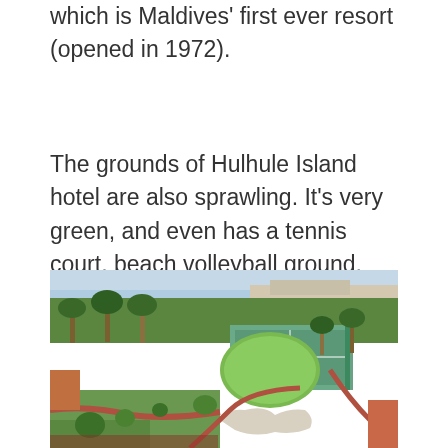which is Maldives' first ever resort (opened in 1972).
The grounds of Hulhule Island hotel are also sprawling. It's very green, and even has a tennis court, beach volleyball ground, and golf putting area.
[Figure (photo): Aerial view of Hulhule Island Hotel grounds showing lush green gardens, a circular golf putting green, tennis courts, palm trees, and red-brick pathways with the ocean and airport visible in the background.]